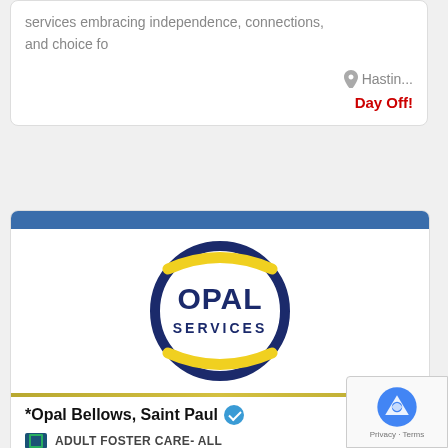services embracing independence, connections, and choice fo
Hastin...
Day Off!
[Figure (logo): Opal Services circular logo with dark navy blue ring, yellow swoosh accents at top and bottom, and bold dark blue text reading OPAL SERVICES in the center]
*Opal Bellows, Saint Paul
ADULT FOSTER CARE- ALL